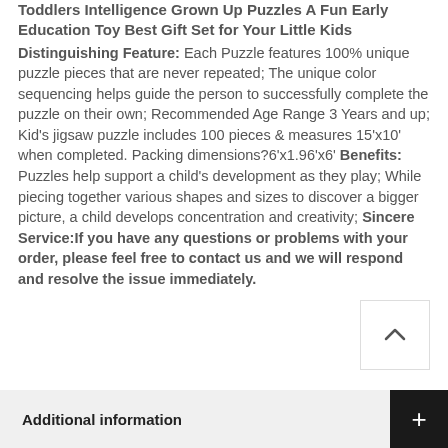Toddlers Intelligence Grown Up Puzzles A Fun Early Education Toy Best Gift Set for Your Little Kids
Distinguishing Feature: Each Puzzle features 100% unique puzzle pieces that are never repeated; The unique color sequencing helps guide the person to successfully complete the puzzle on their own; Recommended Age Range 3 Years and up; Kid's jigsaw puzzle includes 100 pieces & measures 15'x10' when completed. Packing dimensions?6'x1.96'x6' Benefits: Puzzles help support a child's development as they play; While piecing together various shapes and sizes to discover a bigger picture, a child develops concentration and creativity; Sincere Service:If you have any questions or problems with your order, please feel free to contact us and we will respond and resolve the issue immediately.
Additional information